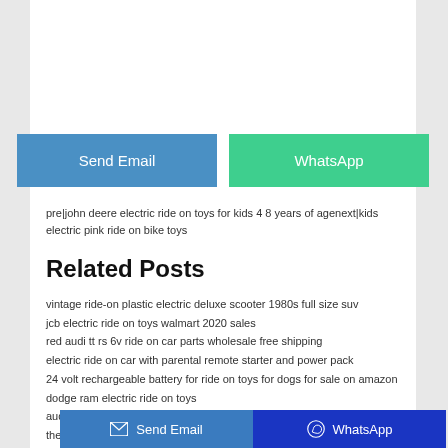[Figure (other): White space / advertisement placeholder at top of page]
Send Email
WhatsApp
pre|john deere electric ride on toys for kids 4 8 years of agenext|kids electric pink ride on bike toys
Related Posts
vintage ride-on plastic electric deluxe scooter 1980s full size suv
jcb electric ride on toys walmart 2020 sales
red audi tt rs 6v ride on car parts wholesale free shipping
electric ride on car with parental remote starter and power pack
24 volt rechargeable battery for ride on toys for dogs for sale on amazon
dodge ram electric ride on toys
audi tt rs 6v electric ride on car power
the biggest ride on electric monster car pictures printable worksheets
disney cars powered ride on toys for kids at walmart
Send Email   WhatsApp